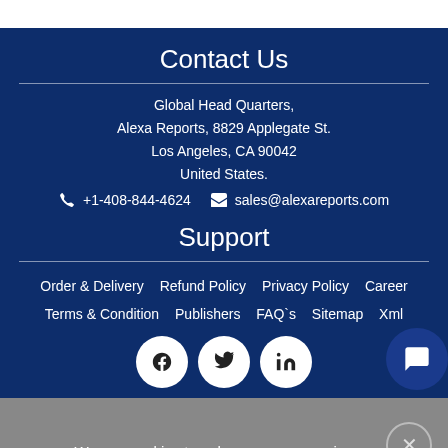Contact Us
Global Head Quarters,
Alexa Reports, 8829 Applegate St.
Los Angeles, CA 90042
United States.
+1-408-844-4624   sales@alexareports.com
Support
Order & Delivery   Refund Policy   Privacy Policy   Career
Terms & Condition   Publishers   FAQ`s   Sitemap   Xml
We use cookies to enhance your experience. By continuing to visit this site you agree to our use of cookies. More info.